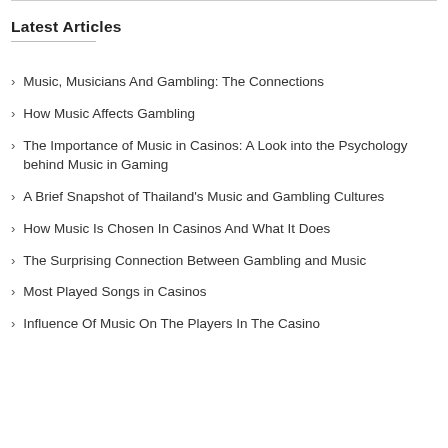Latest Articles
Music, Musicians And Gambling: The Connections
How Music Affects Gambling
The Importance of Music in Casinos: A Look into the Psychology behind Music in Gaming
A Brief Snapshot of Thailand's Music and Gambling Cultures
How Music Is Chosen In Casinos And What It Does
The Surprising Connection Between Gambling and Music
Most Played Songs in Casinos
Influence Of Music On The Players In The Casino